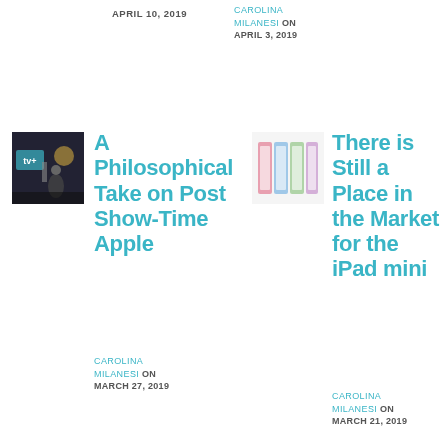APRIL 10, 2019
CAROLINA MILANESI ON APRIL 3, 2019
[Figure (photo): Small thumbnail image showing a TV+ logo and entertainment scene]
A Philosophical Take on Post Show-Time Apple
[Figure (photo): Small thumbnail image showing colorful iPad mini devices]
There is Still a Place in the Market for the iPad mini
CAROLINA MILANESI ON MARCH 27, 2019
CAROLINA MILANESI ON MARCH 21, 2019